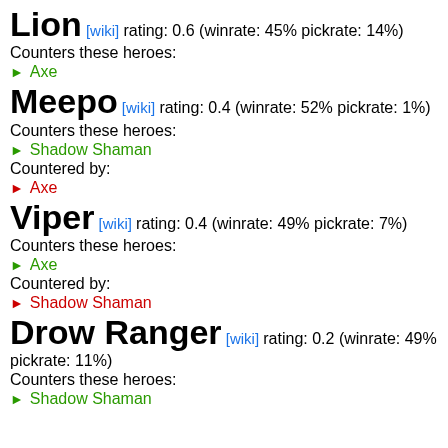Lion [wiki] rating: 0.6 (winrate: 45% pickrate: 14%)
Counters these heroes:
Axe
Meepo [wiki] rating: 0.4 (winrate: 52% pickrate: 1%)
Counters these heroes:
Shadow Shaman
Countered by:
Axe
Viper [wiki] rating: 0.4 (winrate: 49% pickrate: 7%)
Counters these heroes:
Axe
Countered by:
Shadow Shaman
Drow Ranger [wiki] rating: 0.2 (winrate: 49% pickrate: 11%)
Counters these heroes:
Shadow Shaman